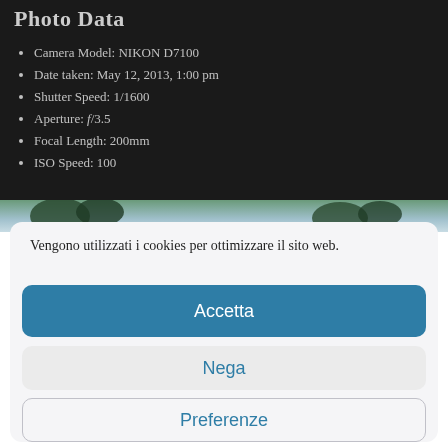Photo Data
Camera Model: NIKON D7100
Date taken: May 12, 2013, 1:00 pm
Shutter Speed: 1/1600
Aperture: f/3.5
Focal Length: 200mm
ISO Speed: 100
[Figure (photo): Outdoor photo strip showing sky and treetops]
Vengono utilizzati i cookies per ottimizzare il sito web.
Accetta
Nega
Preferenze
Cookie Policy  Privacy Policy